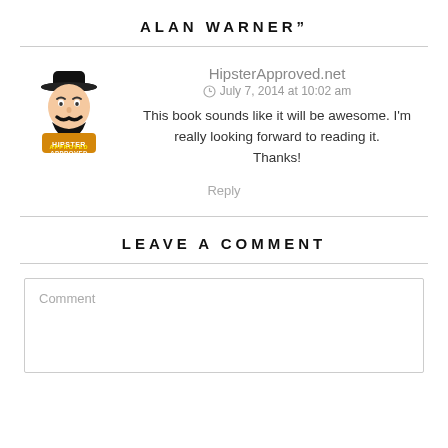ALAN WARNER"
HipsterApproved.net
July 7, 2014 at 10:02 am
This book sounds like it will be awesome. I'm really looking forward to reading it.
Thanks!
Reply
LEAVE A COMMENT
Comment